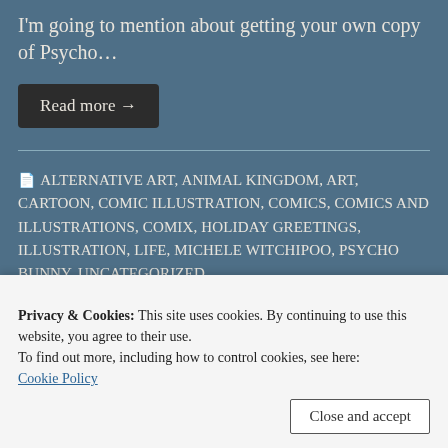I'm going to mention about getting your own copy of Psycho…
Read more →
ALTERNATIVE ART, ANIMAL KINGDOM, ART, CARTOON, COMIC ILLUSTRATION, COMICS, COMICS AND ILLUSTRATIONS, COMIX, HOLIDAY GREETINGS, ILLUSTRATION, LIFE, MICHELE WITCHIPOO, PSYCHO BUNNY, UNCATEGORIZED, UNDERGROUND/ALTERNATIVE/SUBCULTURE, WITCHESBREWPRESS RELEASES
Privacy & Cookies: This site uses cookies. By continuing to use this website, you agree to their use. To find out more, including how to control cookies, see here: Cookie Policy
Close and accept